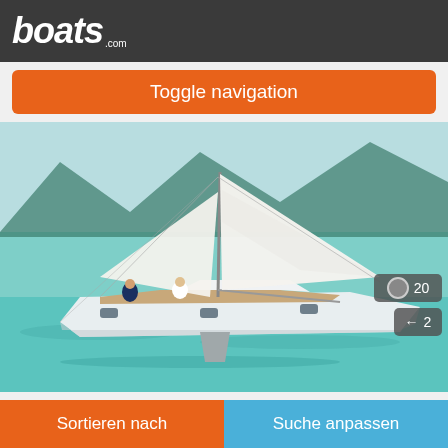boats.com
Toggle navigation
[Figure (photo): A white Dufour 390 sailing yacht under full sail on turquoise water with mountains in the background. Several crew members visible on deck. Overlaid badges show photo count (20) and 360° view (2). A 'Herstellerspezifikation' label appears at bottom right of the image.]
Dufour 390
2023
Sortieren nach
Suche anpassen